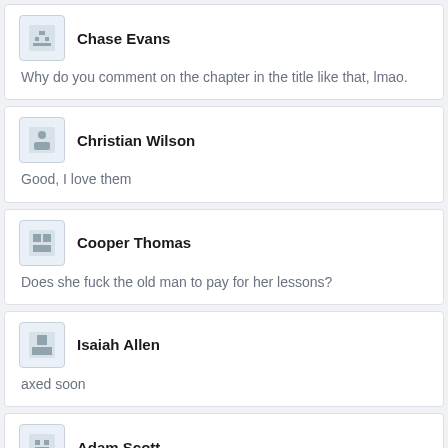Chase Evans
Why do you comment on the chapter in the title like that, lmao.
Christian Wilson
Good, I love them
Cooper Thomas
Does she fuck the old man to pay for her lessons?
Isaiah Allen
axed soon
Adam Scott